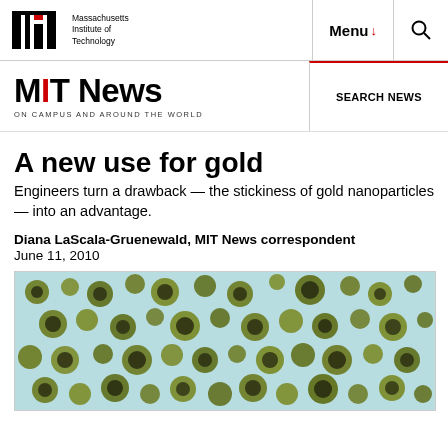Massachusetts Institute of Technology | Menu | Search
MIT News ON CAMPUS AND AROUND THE WORLD | SEARCH NEWS
A new use for gold
Engineers turn a drawback — the stickiness of gold nanoparticles — into an advantage.
Diana LaScala-Gruenewald, MIT News correspondent
June 11, 2010
[Figure (photo): Microscope image showing numerous spherical cells or nanoparticles on a light blue background, appearing as dark olive/yellow-green circles of various sizes scattered across the field of view.]